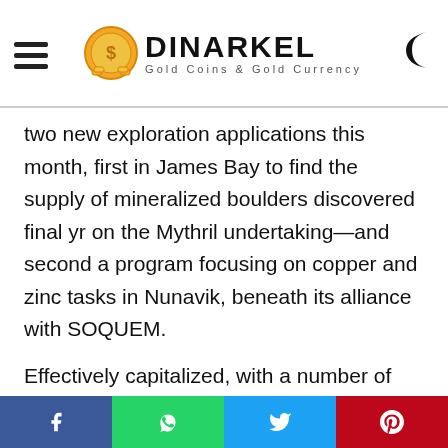DINARKEL Gold Coins & Gold Currency
two new exploration applications this month, first in James Bay to find the supply of mineralized boulders discovered final yr on the Mythril undertaking—and second a program focusing on copper and zinc tasks in Nunavik, beneath its alliance with SOQUEM.
Effectively capitalized, with a number of tasks and companions, Midland is a purchase.
Orogen Royalties Inc. (OGN:TSX.V) has expanded its geographic footprint by buying royalties on
Facebook | WhatsApp | Twitter | Pinterest